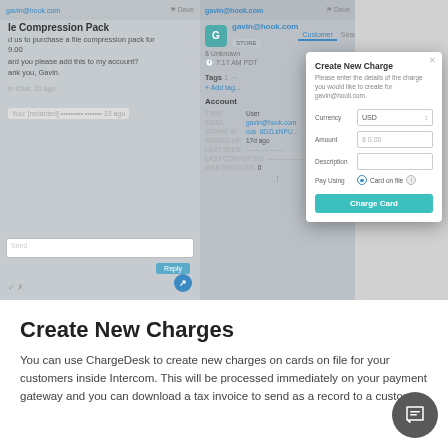[Figure (screenshot): Screenshot of ChargeDesk application integrated with Intercom, showing a customer conversation about a File Compression Pack purchase on the left, customer account details in the middle panel, and a 'Create New Charge' modal dialog on the right with fields for Currency (USD), Amount ($0.00), Description, Pay Using (Card on file), and a Charge Card button.]
Create New Charges
You can use ChargeDesk to create new charges on cards on file for your customers inside Intercom. This will be processed immediately on your payment gateway and you can download a tax invoice to send as a record to a customer.